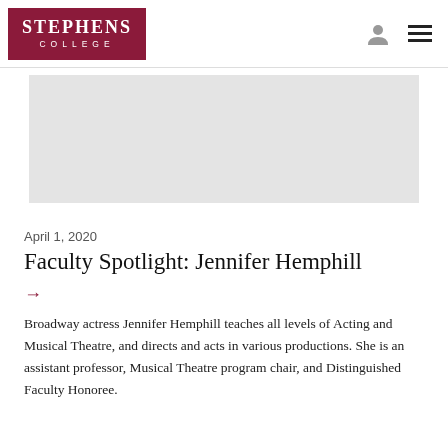STEPHENS COLLEGE
[Figure (photo): Gray placeholder banner image area for article photo]
April 1, 2020
Faculty Spotlight: Jennifer Hemphill
→
Broadway actress Jennifer Hemphill teaches all levels of Acting and Musical Theatre, and directs and acts in various productions. She is an assistant professor, Musical Theatre program chair, and Distinguished Faculty Honoree.